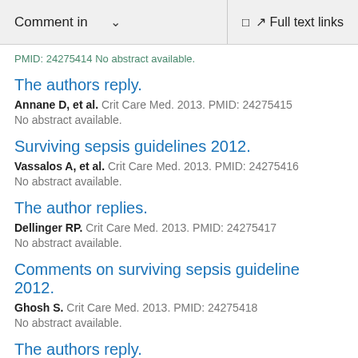Comment in  ∨  Full text links
PMID: 24275414 No abstract available.
The authors reply.
Annane D, et al. Crit Care Med. 2013. PMID: 24275415
No abstract available.
Surviving sepsis guidelines 2012.
Vassalos A, et al. Crit Care Med. 2013. PMID: 24275416
No abstract available.
The author replies.
Dellinger RP. Crit Care Med. 2013. PMID: 24275417
No abstract available.
Comments on surviving sepsis guideline 2012.
Ghosh S. Crit Care Med. 2013. PMID: 24275418
No abstract available.
The authors reply.